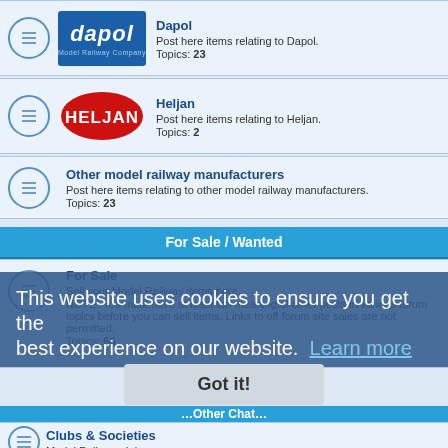Dapol — Post here items relating to Dapol. Topics: 23
Heljan — Post here items relating to Heljan. Topics: 2
Other model railway manufacturers — Post here items relating to other model railway manufacturers. Topics: 23
For Sale / Wanted
For Sale — Sell your Model Railway items here. NOTE: You must have at least ten meaningful other posts in various forum topics before you can sell items. Links to off forum site sales are not permitted. Topics: 66
This website uses cookies to ensure you get the best experience on our website. Learn more
Got it!
Clubs & Societies — Model Railway club news Topics: 6